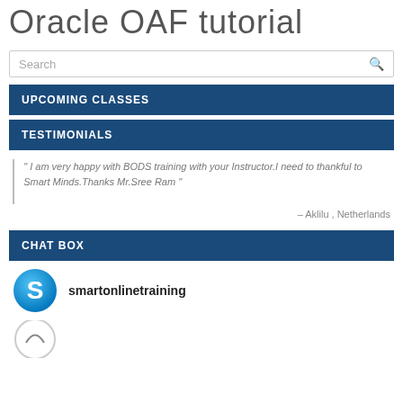Oracle OAF tutorial
Search
UPCOMING CLASSES
TESTIMONIALS
" I am very happy with BODS training with your Instructor.I need to thankful to Smart Minds.Thanks Mr.Sree Ram "
– Aklilu , Netherlands
CHAT BOX
smartonlinetraining
[Figure (logo): Skype logo icon - blue circular icon with white S letter]